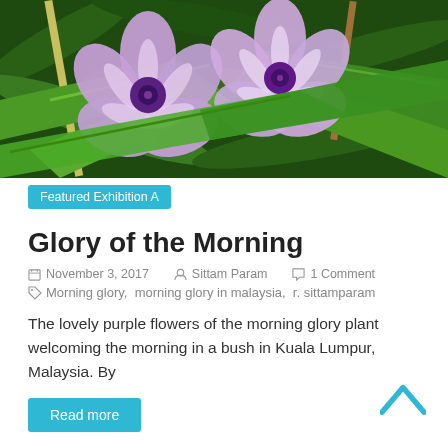[Figure (photo): Purple morning glory flowers blooming among green tropical leaves in a bush]
Featured Exhibition A
Glory of the Morning
November 3, 2017  Sittam Param  1 Comment  Morning glory, morning glory in malaysia, r. sittamparam
The lovely purple flowers of the morning glory plant welcoming the morning in a bush in Kuala Lumpur, Malaysia. By
Read more